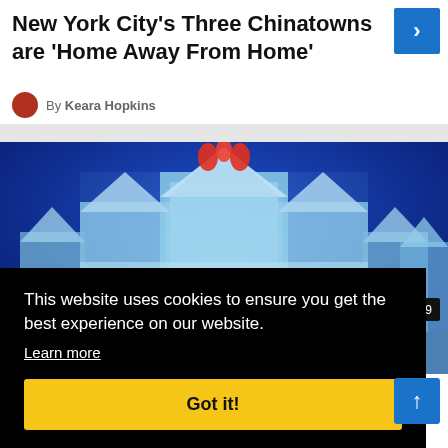New York City's Three Chinatowns are 'Home Away From Home'
By Keara Hopkins
[Figure (photo): Ice castle sculpture illuminated in blue light at night, with tall spires and intricate carved details]
↑↓ 79
This website uses cookies to ensure you get the best experience on our website. Learn more
Got it!
By Julia Kim